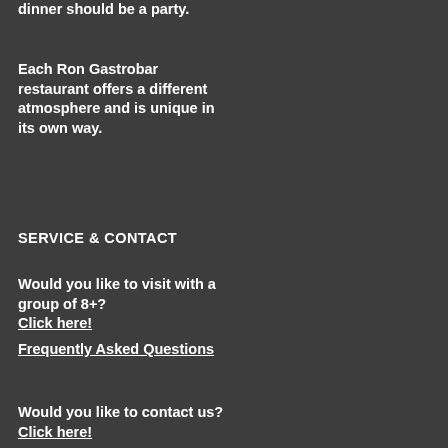dinner should be a party.
Each Ron Gastrobar restaurant offers a different atmosphere and is unique in its own way.
Downtown
Ron Gastrobar Indonesia
Ron Gastrobar Indonesia Laren
Ron Gastrobar Supersoft
Ron Gastrobar Streetfood
SERVICE & CONTACT
PRIVACY
Would you like to visit with a group of 8+? Click here!
We handle your privacy and data with care.
Frequently Asked Questions
Privacy statement
Terms and conditions
Would you like to contact us? Click here!